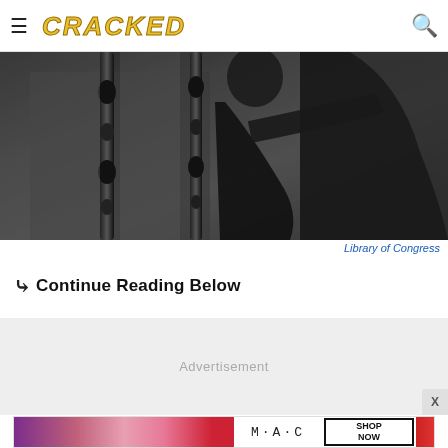≡ CRACKED 🔍
[Figure (photo): Black and white historical photograph showing a person near ornate wooden furniture or railings, in dark clothing]
Library of Congress
❯❯ Continue Reading Below
[Figure (other): Advertisement placeholder box with text 'Advertisement']
[Figure (other): MAC cosmetics advertisement showing lipsticks in purple, pink, red colors with M·A·C logo and SHOP NOW box]